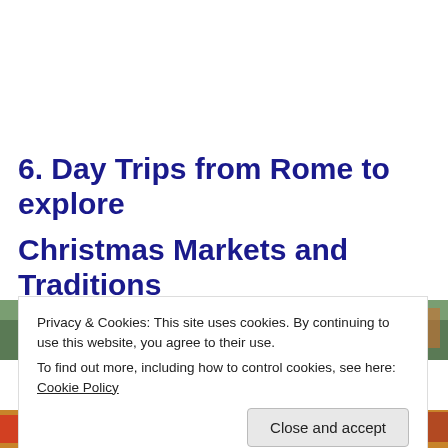6.  Day Trips from Rome to explore Christmas Markets and Traditions
[Figure (photo): Partial view of a Christmas market photo strip, partially obscured by a cookie consent overlay]
Privacy & Cookies: This site uses cookies. By continuing to use this website, you agree to their use.
To find out more, including how to control cookies, see here: Cookie Policy
Close and accept